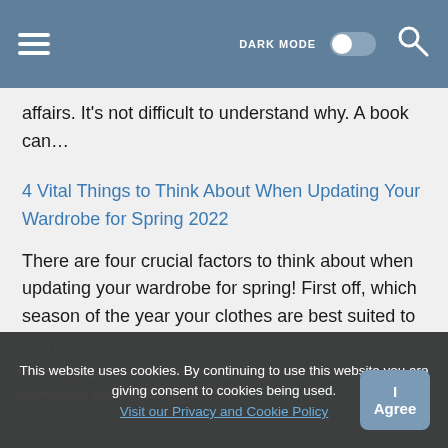DARK MODE [toggle] [search]
affairs. It's not difficult to understand why. A book can…
4 Vital Things to Think About When Updating Your Wardrobe for Spring 2022
There are four crucial factors to think about when updating your wardrobe for spring! First off, which season of the year your clothes are best suited to depends greatly…
What is the Internet of Things (IoT)?
In recent years, the term "Internet of Things" has become increasingly popular. But what is IoT?
This website uses cookies. By continuing to use this website you are giving consent to cookies being used. Visit our Privacy and Cookie Policy